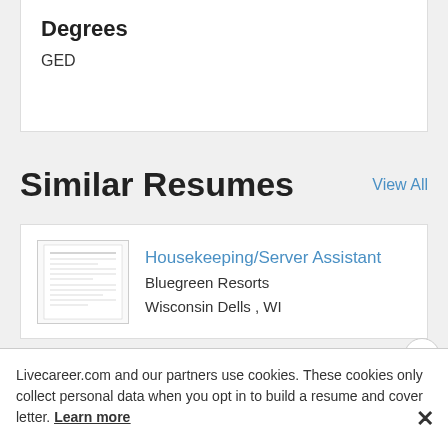Degrees
GED
Similar Resumes
View All
[Figure (other): Thumbnail image of a resume document]
Housekeeping/Server Assistant
Bluegreen Resorts
Wisconsin Dells , WI
Livecareer.com and our partners use cookies. These cookies only collect personal data when you opt in to build a resume and cover letter. Learn more